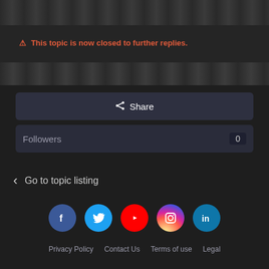[Figure (screenshot): Dark banner strip at top]
⚠ This topic is now closed to further replies.
[Figure (screenshot): Dark banner divider strip]
Share
Followers  0
< Go to topic listing
[Figure (infographic): Social media icons: Facebook, Twitter, YouTube, Instagram, LinkedIn]
Privacy Policy  Contact Us  Terms of use  Legal